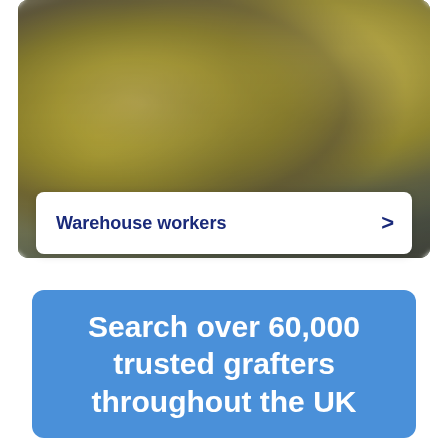[Figure (photo): Two workers wearing yellow high-visibility vests in a warehouse setting. One holds a clipboard, the other is in the foreground.]
Warehouse workers
Search over 60,000 trusted grafters throughout the UK